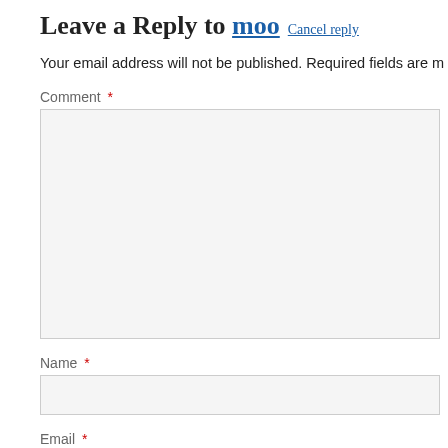Leave a Reply to moo Cancel reply
Your email address will not be published. Required fields are m
Comment *
Name *
Email *
Website